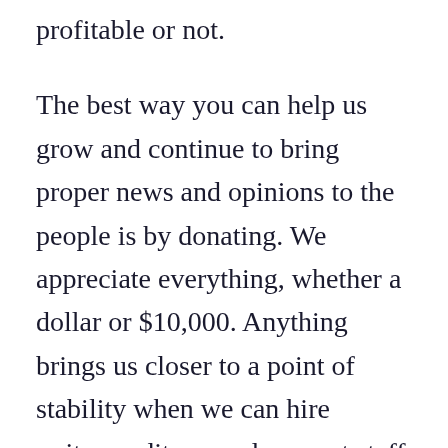profitable or not.
The best way you can help us grow and continue to bring proper news and opinions to the people is by donating. We appreciate everything, whether a dollar or $10,000. Anything brings us closer to a point of stability when we can hire writers, editors, and support staff to make the America First message louder. Our Giving Fuel page makes it easy to donate one-time or